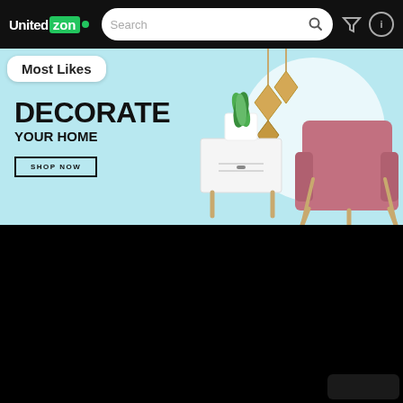United zon•  [Search bar]  [filter icon]  [info icon]
Most Likes
DECORATE YOUR HOME
SHOP NOW
[Figure (illustration): Home decor banner with light blue background showing a white side table, hanging wooden diamond decorations, a potted plant, and a pink/mauve armchair with wooden legs]